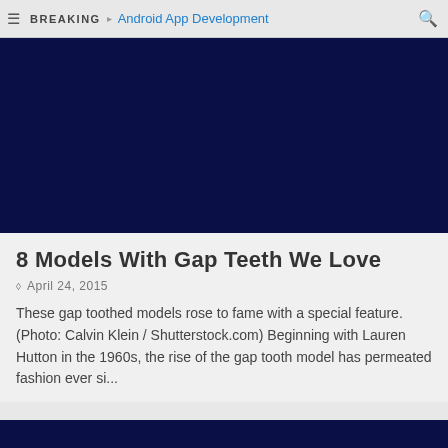BREAKING | Android App Development
[Figure (photo): Dark navy blue hero image placeholder]
8 Models With Gap Teeth We Love
April 24, 2015
These gap toothed models rose to fame with a special feature. (Photo: Calvin Klein / Shutterstock.com) Beginning with Lauren Hutton in the 1960s, the rise of the gap tooth model has permeated fashion ever si...
[Figure (photo): Dark navy blue image at bottom, partially visible]